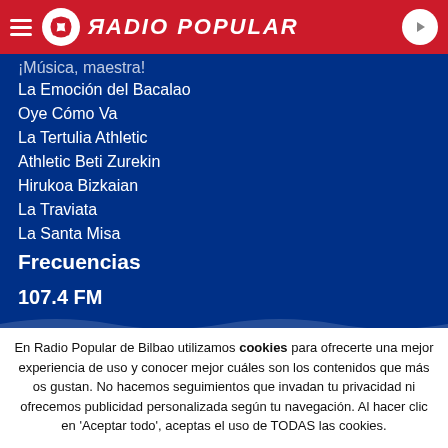RADIO POPULAR
¡Música, maestra!
La Emoción del Bacalao
Oye Cómo Va
La Tertulia Athletic
Athletic Beti Zurekin
Hirukoa Bizkaian
La Traviata
La Santa Misa
Frecuencias
107.4 FM
En Radio Popular de Bilbao utilizamos cookies para ofrecerte una mejor experiencia de uso y conocer mejor cuáles son los contenidos que más os gustan. No hacemos seguimientos que invadan tu privacidad ni ofrecemos publicidad personalizada según tu navegación. Al hacer clic en 'Aceptar todo', aceptas el uso de TODAS las cookies.
Rechazar y salir
Aceptar todas y continuar
Leer más